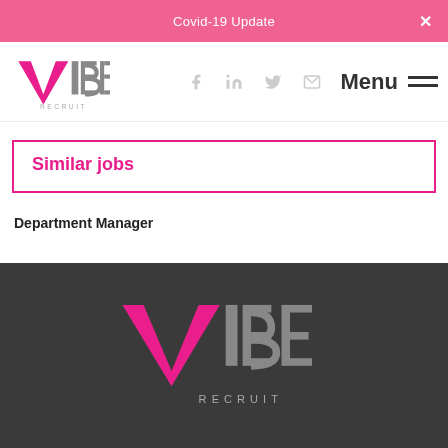Covid-19 Update
[Figure (logo): VIBE RECRUIT logo in pink and grey]
Similar jobs
Department Manager
[Figure (logo): VIBE RECRUIT logo large on dark background footer]